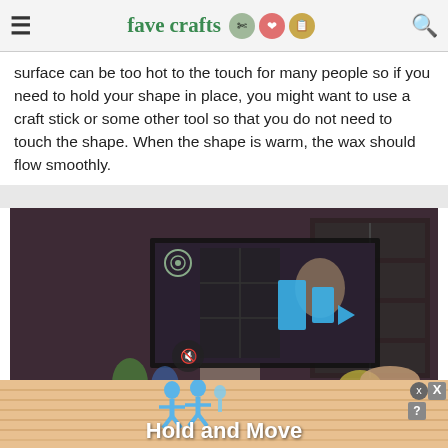favecrafts
surface can be too hot to the touch for many people so if you need to hold your shape in place, you might want to use a craft stick or some other tool so that you do not need to touch the shape. When the shape is warm, the wax should flow smoothly.
[Figure (screenshot): Embedded video player screenshot showing a crafting tutorial video with play button overlay and mute control. Dark overlay on video with blue play icon.]
[Figure (screenshot): Advertisement banner with 'Hold and Move' text and blue character figures on a wood-grain background with close button.]